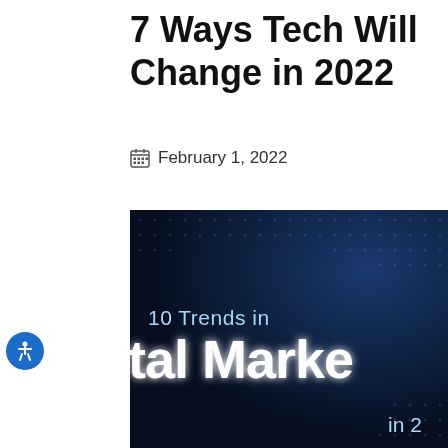7 Ways Tech Will Change in 2022
February 1, 2022
[Figure (photo): Dark blue digital marketing infographic image showing '10 Trends in Digital Marketing in 2022' text on a dark navy dotted background with glowing white text]